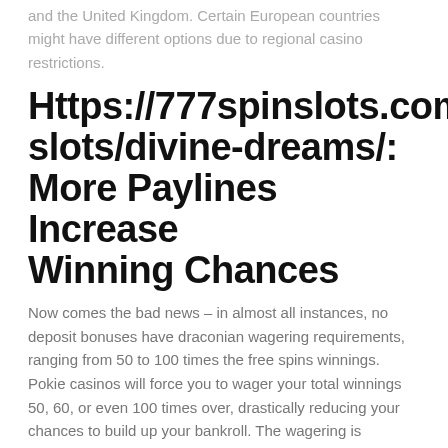and the United Kingdom. Certain European countries might have different options due to regional casino restrictions.
Https://777spinslots.com/slots/divine-dreams/: More Paylines Increase Winning Chances
Now comes the bad news – in almost all instances, no deposit bonuses have draconian wagering requirements, ranging from 50 to 100 times the free spins winnings. Pokie casinos will force you to wager your total winnings 50, 60, or even 100 times over, drastically reducing your chances to build up your bankroll. The wagering is especially brutal when applied to no deposit free spins, and it is usually a bit more lenient for deposit-based